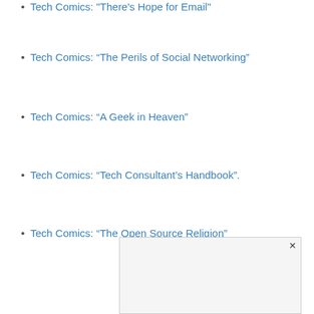Tech Comics: “There’s Hope for Email”
Tech Comics: “The Perils of Social Networking”
Tech Comics: “A Geek in Heaven”
Tech Comics: “Tech Consultant’s Handbook”.
Tech Comics: “The Open Source Religion”
Tech Comics: “The Tech Staff Meeting”
Tech Comics: “Trying to Buy Two iPhones”
Tech Comics: “Protecting the iPhone”
Tech C…